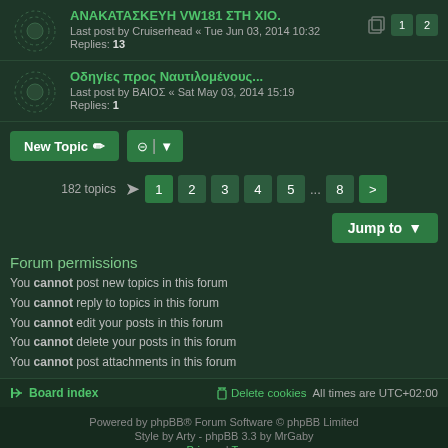ΑΝΑΚΑΤΑΣΚΕΥΗ VW181 ΣΤΗ ΧΙΟ. Last post by Cruiserhead « Tue Jun 03, 2014 10:32 Replies: 13
Οδηγίες προς Ναυτιλομένους... Last post by ΒΑΙΟΣ « Sat May 03, 2014 15:19 Replies: 1
New Topic  |  182 topics  1 2 3 4 5 ... 8 >
Jump to
Forum permissions
You cannot post new topics in this forum
You cannot reply to topics in this forum
You cannot edit your posts in this forum
You cannot delete your posts in this forum
You cannot post attachments in this forum
Board index   Delete cookies   All times are UTC+02:00
Powered by phpBB® Forum Software © phpBB Limited Style by Arty - phpBB 3.3 by MrGaby Privacy | Terms